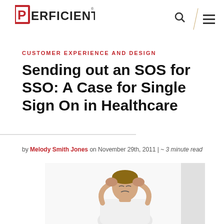PERFICIENT
CUSTOMER EXPERIENCE AND DESIGN
Sending out an SOS for SSO: A Case for Single Sign On in Healthcare
by Melody Smith Jones on November 29th, 2011 | ~ 3 minute read
[Figure (photo): A stressed man holding his head in his hands, wearing a white shirt, isolated on white background]